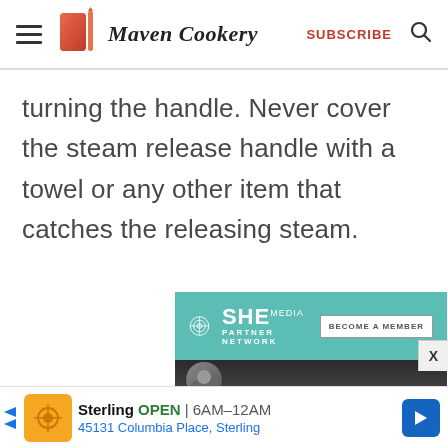Maven Cookery  SUBSCRIBE
turning the handle. Never cover the steam release handle with a towel or any other item that catches the releasing steam.
[Figure (infographic): SHE Media Partner Network advertisement banner with teal background, SHE logo, and 'BECOME A MEMBER' button, with a photo of a woman with glasses below]
[Figure (infographic): Sterling restaurant ad: orange logo, Sterling name, OPEN in green, 6AM-12AM, 45131 Columbia Place Sterling, blue navigation arrow icon]